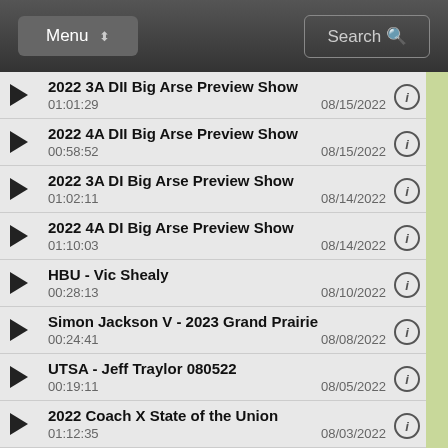Menu | Search
2022 3A DII Big Arse Preview Show | 01:01:29 | 08/15/2022
2022 4A DII Big Arse Preview Show | 00:58:52 | 08/15/2022
2022 3A DI Big Arse Preview Show | 01:02:11 | 08/14/2022
2022 4A DI Big Arse Preview Show | 01:10:03 | 08/14/2022
HBU - Vic Shealy | 00:28:13 | 08/10/2022
Simon Jackson V - 2023 Grand Prairie | 00:24:41 | 08/08/2022
UTSA - Jeff Traylor 080522 | 00:19:11 | 08/05/2022
2022 Coach X State of the Union | 01:12:35 | 08/03/2022